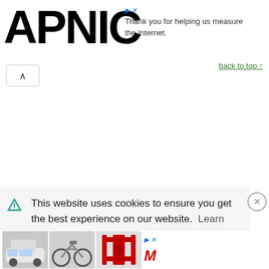[Figure (logo): APNIC logo in large bold black text]
Thank you for helping us measure the Internet.
back to top ↑
This website uses cookies to ensure you get the best experience on our website. Learn more
[Figure (photo): Advertisement banner with images of a white car, an electric bicycle, and a red gym equipment rack, plus a brand logo]